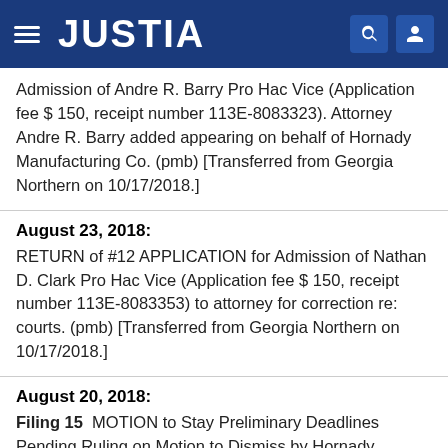JUSTIA
Admission of Andre R. Barry Pro Hac Vice (Application fee $ 150, receipt number 113E-8083323). Attorney Andre R. Barry added appearing on behalf of Hornady Manufacturing Co. (pmb) [Transferred from Georgia Northern on 10/17/2018.]
August 23, 2018:
RETURN of #12 APPLICATION for Admission of Nathan D. Clark Pro Hac Vice (Application fee $ 150, receipt number 113E-8083353) to attorney for correction re: courts. (pmb) [Transferred from Georgia Northern on 10/17/2018.]
August 20, 2018:
Filing 15  MOTION to Stay Preliminary Deadlines Pending Ruling on Motion to Dismiss by Hornady Manufacturing Co.. (Attachments: #1 Text of Proposed Order)(Charney, Joseph) [Transferred from